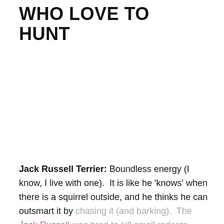WHO LOVE TO HUNT
Jack Russell Terrier: Boundless energy (I know, I live with one).  It is like he 'knows' when there is a squirrel outside, and he thinks he can outsmart it by chasing it (and barking).  The Jack Russell was bred to kill small rodents (such as squirrels) and even foxes.